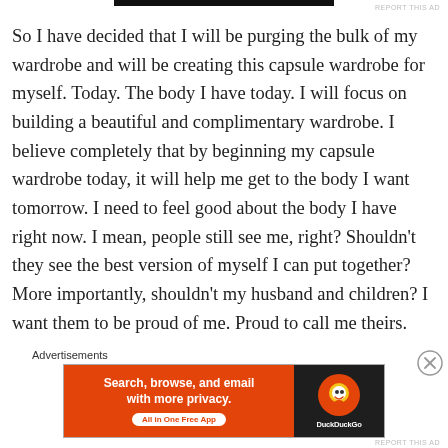So I have decided that I will be purging the bulk of my wardrobe and will be creating this capsule wardrobe for myself.  Today.  The body I have today.  I will focus on building a beautiful and complimentary wardrobe.  I believe completely that by beginning my capsule wardrobe today, it will help me get to the body I want tomorrow.  I need to feel good about the body I have right now.  I mean, people still see me, right?  Shouldn't they see the best version of myself I can put together?  More importantly, shouldn't my husband and children?  I want them to be proud of me.  Proud to call me theirs.
Advertisements
[Figure (other): DuckDuckGo advertisement banner: orange background on left with text 'Search, browse, and email with more privacy. All in One Free App' and DuckDuckGo logo on dark right panel.]